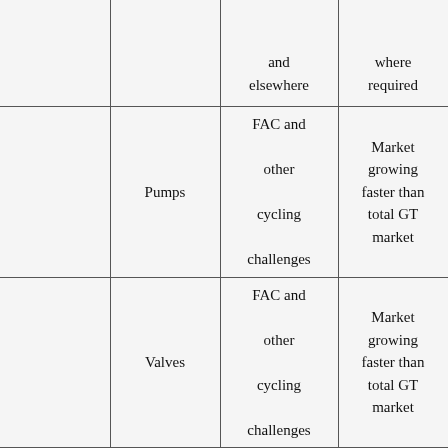|  |  | and elsewhere | where required |
| --- | --- | --- | --- |
|  | Pumps | FAC and other cycling challenges | Market growing faster than total GT market |
|  | Valves | FAC and other cycling challenges | Market growing faster than total GT market |
|  | Seals | Pump, valve, compressor and new | Market growing faster than total GT |